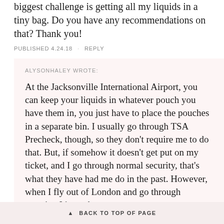biggest challenge is getting all my liquids in a tiny bag. Do you have any recommendations on that? Thank you!
PUBLISHED 4.24.18 · REPLY
ALYSONHALEY WROTE:
At the Jacksonville International Airport, you can keep your liquids in whatever pouch you have them in, you just have to place the pouches in a separate bin. I usually go through TSA Precheck, though, so they don't require me to do that. But, if somehow it doesn't get put on my ticket, and I go through normal security, that's what they have had me do in the past. However, when I fly out of London and go through security, I just take a moment
▲ BACK TO TOP OF PAGE